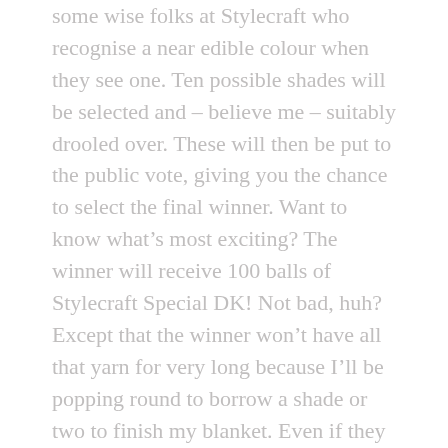some wise folks at Stylecraft who recognise a near edible colour when they see one. Ten possible shades will be selected and – believe me – suitably drooled over. These will then be put to the public vote, giving you the chance to select the final winner. Want to know what's most exciting? The winner will receive 100 balls of Stylecraft Special DK! Not bad, huh? Except that the winner won't have all that yarn for very long because I'll be popping round to borrow a shade or two to finish my blanket. Even if they live in Djibouti. Sorry about that. Runners-up will receive prizes, too.
Here's another of my makes in Stylecraft Special DK: the replicas of my family for the 'About' page of this blog:-